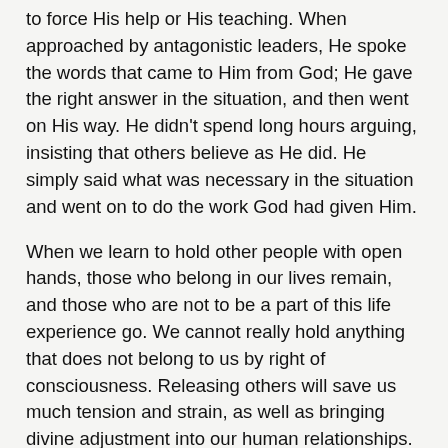to force His help or His teaching. When approached by antagonistic leaders, He spoke the words that came to Him from God; He gave the right answer in the situation, and then went on His way. He didn't spend long hours arguing, insisting that others believe as He did. He simply said what was necessary in the situation and went on to do the work God had given Him.
When we learn to hold other people with open hands, those who belong in our lives remain, and those who are not to be a part of this life experience go. We cannot really hold anything that does not belong to us by right of consciousness. Releasing others will save us much tension and strain, as well as bringing divine adjustment into our human relationships.
There may be times when we feel that we must interfere in the lives of others because of ways in which they apparently are hurting themselves and others. Even in such a case, our greatest help will be in the area of learning to recognize and to trust the Christ, the God self, in the other person. This doesn't